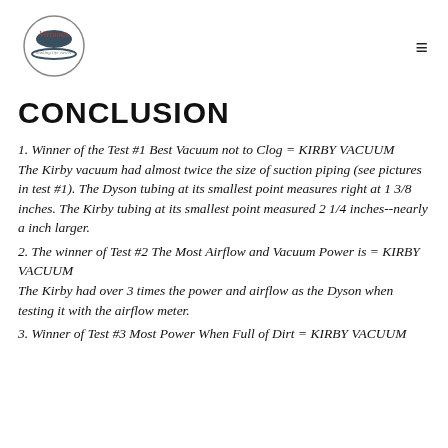[Figure (logo): VirtuousWares logo with circular border design and tagline 'making life easier']
CONCLUSION
1. Winner of the Test #1 Best Vacuum not to Clog = KIRBY VACUUM
The Kirby vacuum had almost twice the size of suction piping (see pictures in test #1). The Dyson tubing at its smallest point measures right at 1 3/8 inches. The Kirby tubing at its smallest point measured 2 1/4 inches--nearly a inch larger.
2. The winner of Test #2 The Most Airflow and Vacuum Power is = KIRBY VACUUM
The Kirby had over 3 times the power and airflow as the Dyson when testing it with the airflow meter.
3. Winner of Test #3 Most Power When Full of Dirt = KIRBY VACUUM